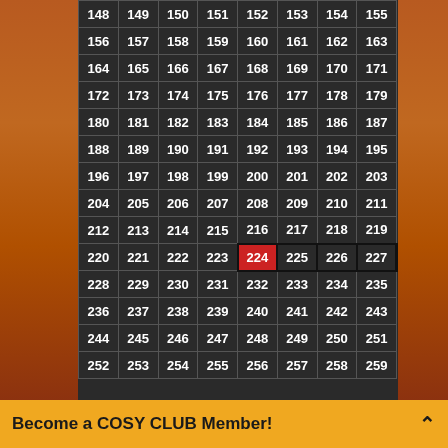| 148 | 149 | 150 | 151 | 152 | 153 | 154 | 155 |
| 156 | 157 | 158 | 159 | 160 | 161 | 162 | 163 |
| 164 | 165 | 166 | 167 | 168 | 169 | 170 | 171 |
| 172 | 173 | 174 | 175 | 176 | 177 | 178 | 179 |
| 180 | 181 | 182 | 183 | 184 | 185 | 186 | 187 |
| 188 | 189 | 190 | 191 | 192 | 193 | 194 | 195 |
| 196 | 197 | 198 | 199 | 200 | 201 | 202 | 203 |
| 204 | 205 | 206 | 207 | 208 | 209 | 210 | 211 |
| 212 | 213 | 214 | 215 | 216 | 217 | 218 | 219 |
| 220 | 221 | 222 | 223 | 224 | 225 | 226 | 227 |
| 228 | 229 | 230 | 231 | 232 | 233 | 234 | 235 |
| 236 | 237 | 238 | 239 | 240 | 241 | 242 | 243 |
| 244 | 245 | 246 | 247 | 248 | 249 | 250 | 251 |
| 252 | 253 | 254 | 255 | 256 | 257 | 258 | 259 |
Become a COSY CLUB Member!